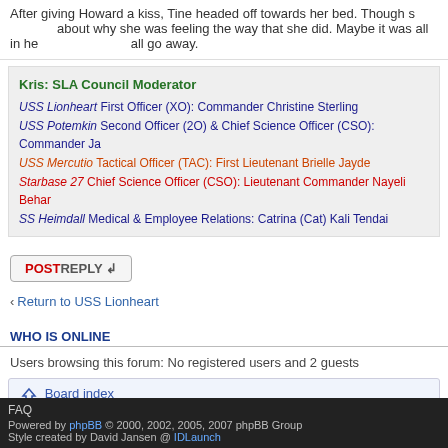After giving Howard a kiss, Tine headed off towards her bed. Though she thought about why she was feeling the way that she did. Maybe it was all in her head. It would all go away.
Kris: SLA Council Moderator
USS Lionheart First Officer (XO): Commander Christine Sterling
USS Potemkin Second Officer (2O) & Chief Science Officer (CSO): Commander Ja…
USS Mercutio Tactical Officer (TAC): First Lieutenant Brielle Jayde
Starbase 27 Chief Science Officer (CSO): Lieutenant Commander Nayeli Behar
SS Heimdall Medical & Employee Relations: Catrina (Cat) Kali Tendai
POSTREPLY ↲
‹ Return to USS Lionheart
WHO IS ONLINE
Users browsing this forum: No registered users and 2 guests
⌂ Board index
FAQ
Powered by phpBB © 2000, 2002, 2005, 2007 phpBB Group
Style created by David Jansen @ IDLaunch